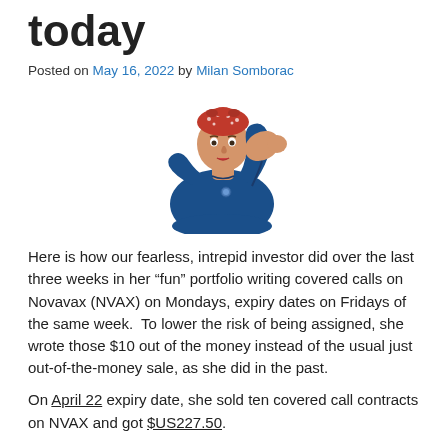today
Posted on May 16, 2022 by Milan Somborac
[Figure (illustration): Rosie the Riveter illustration — a woman in blue work shirt and red polka-dot headband flexing her arm bicep, iconic WWII-era American poster style]
Here is how our fearless, intrepid investor did over the last three weeks in her “fun” portfolio writing covered calls on Novavax (NVAX) on Mondays, expiry dates on Fridays of the same week.  To lower the risk of being assigned, she wrote those $10 out of the money instead of the usual just out-of-the-money sale, as she did in the past.
On April 22 expiry date, she sold ten covered call contracts on NVAX and got $US227.50.